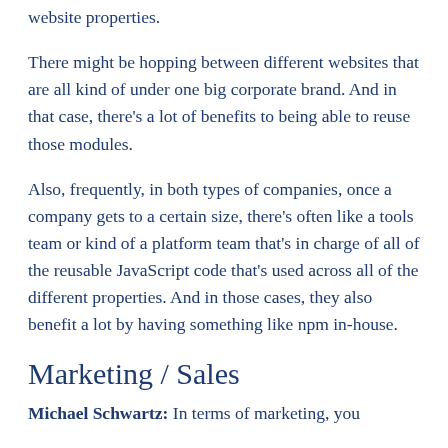website properties.
There might be hopping between different websites that are all kind of under one big corporate brand. And in that case, there’s a lot of benefits to being able to reuse those modules.
Also, frequently, in both types of companies, once a company gets to a certain size, there’s often like a tools team or kind of a platform team that’s in charge of all of the reusable JavaScript code that’s used across all of the different properties. And in those cases, they also benefit a lot by having something like npm in-house.
Marketing / Sales
Michael Schwartz: In terms of marketing, you